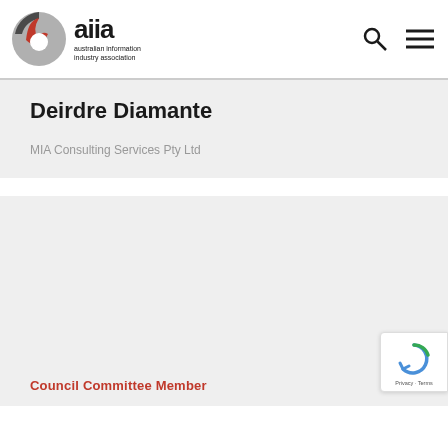aiia australian information industry association
Deirdre Diamante
MIA Consulting Services Pty Ltd
Council Committee Member